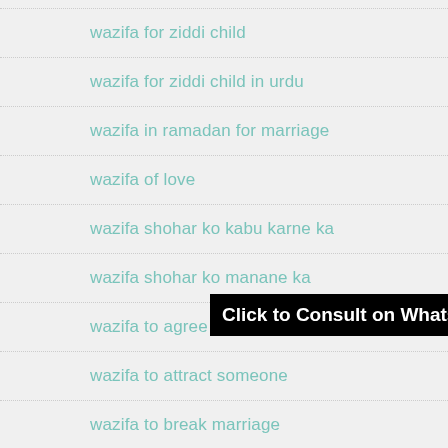wazifa for ziddi child
wazifa for ziddi child in urdu
wazifa in ramadan for marriage
wazifa of love
wazifa shohar ko kabu karne ka
wazifa shohar ko manane ka
wazifa to agree parents for marriage
wazifa to attract someone
wazifa to break marriage
wazifa to break someone engagement